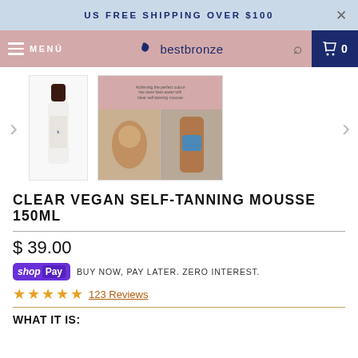US FREE SHIPPING OVER $100
MENÚ  bestbronze  0
[Figure (photo): Two product thumbnails: a white spray bottle with dark cap (bestbronze product) and a collage image showing application and a woman with tan skin]
CLEAR VEGAN SELF-TANNING MOUSSE 150ML
$ 39.00
shopPay BUY NOW, PAY LATER. ZERO INTEREST.
★★★★★ 123 Reviews
WHAT IT IS: